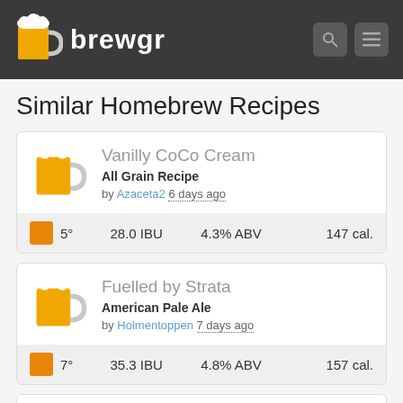brewgr
Similar Homebrew Recipes
Vanilly CoCo Cream
All Grain Recipe
by Azaceta2 6 days ago
5° | 28.0 IBU | 4.3% ABV | 147 cal.
Fuelled by Strata
American Pale Ale
by Holmentoppen 7 days ago
7° | 35.3 IBU | 4.8% ABV | 157 cal.
Clone Of Founders All Day IPA